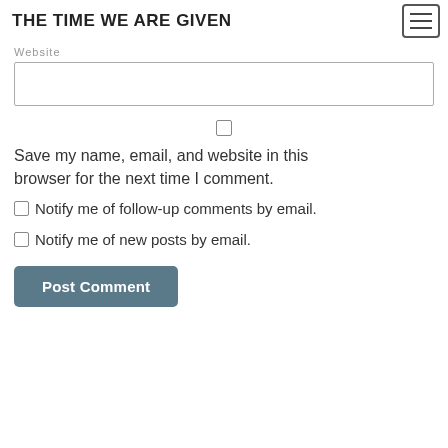THE TIME WE ARE GIVEN
Website
Save my name, email, and website in this browser for the next time I comment.
Notify me of follow-up comments by email.
Notify me of new posts by email.
Post Comment